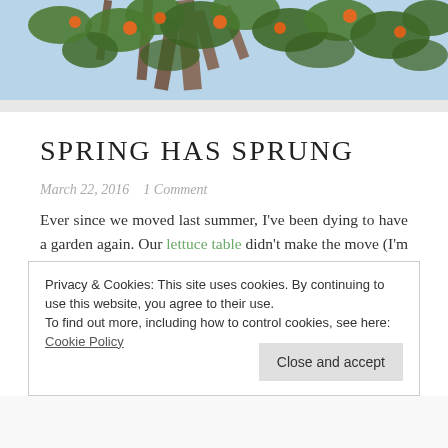[Figure (photo): Header photo of tree branches with green and orange leaves against a light blue sky]
SPRING HAS SPRUNG
March 22, 2016   1 Comment
Ever since we moved last summer, I've been dying to have a garden again. Our lettuce table didn't make the move (I'm still not sure why. And I'm still waiting on my replacement...ahem, PETER) so I have been without home grown veggies for too many months.
Privacy & Cookies: This site uses cookies. By continuing to use this website, you agree to their use.
To find out more, including how to control cookies, see here: Cookie Policy